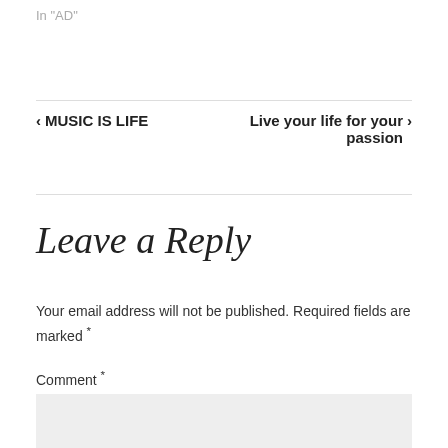In "AD"
‹ MUSIC IS LIFE
Live your life for your passion ›
Leave a Reply
Your email address will not be published. Required fields are marked *
Comment *